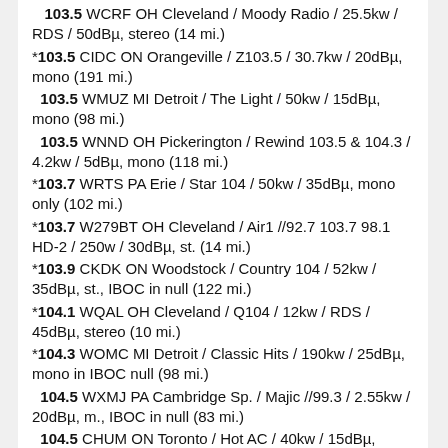103.5 WCRF OH Cleveland / Moody Radio / 25.5kw / RDS / 50dBµ, stereo (14 mi.)
*103.5 CIDC ON Orangeville / Z103.5 / 30.7kw / 20dBµ, mono (191 mi.)
103.5 WMUZ MI Detroit / The Light / 50kw / 15dBµ, mono (98 mi.)
103.5 WNND OH Pickerington / Rewind 103.5 & 104.3 / 4.2kw / 5dBµ, mono (118 mi.)
*103.7 WRTS PA Erie / Star 104 / 50kw / 35dBµ, mono only (102 mi.)
*103.7 W279BT OH Cleveland / Air1 //92.7 103.7 98.1 HD-2 / 250w / 30dBµ, st. (14 mi.)
*103.9 CKDK ON Woodstock / Country 104 / 52kw / 35dBµ, st., IBOC in null (122 mi.)
*104.1 WQAL OH Cleveland / Q104 / 12kw / RDS / 45dBµ, stereo (10 mi.)
*104.3 WOMC MI Detroit / Classic Hits / 190kw / 25dBµ, mono in IBOC null (98 mi.)
104.5 WXMJ PA Cambridge Sp. / Majic //99.3 / 2.55kw / 20dBµ, m., IBOC in null (83 mi.)
104.5 CHUM ON Toronto / Hot AC / 40kw / 15dBµ, mono, IBOC in null (191 mi.)